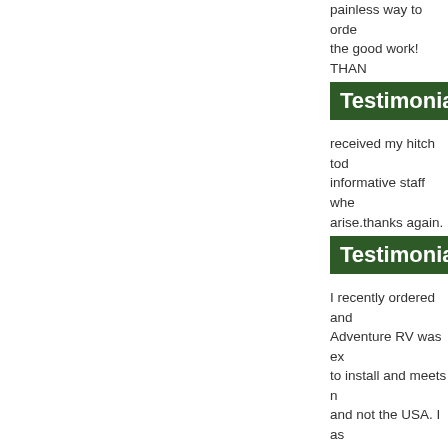painless way to order... the good work! THAN
Testimonial b
received my hitch tod... informative staff whe... arise.thanks again.
Testimonial b
I recently ordered and... Adventure RV was ex... to install and meets n... and not the USA. I as... from Adventure RV b
Testimonial b
Thank you for the fas... price was the best ! L... Adventure RV.
Write One
Cop